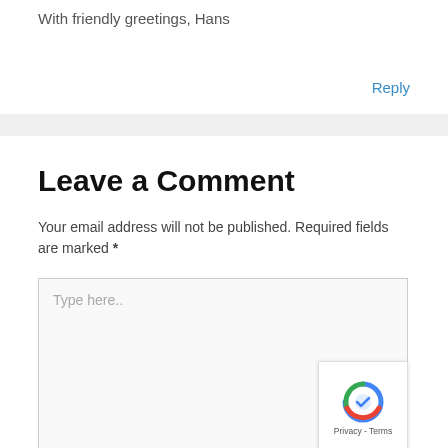With friendly greetings, Hans
Reply
Leave a Comment
Your email address will not be published. Required fields are marked *
Type here..